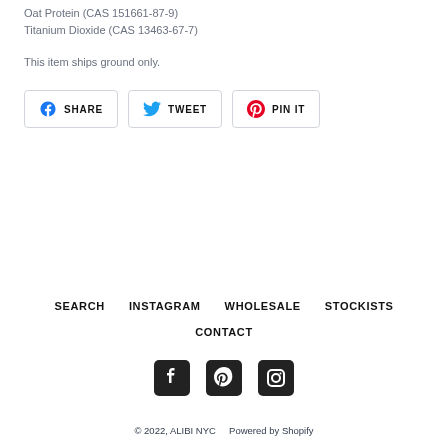Oat Protein (CAS 151661-87-9)
Titanium Dioxide (CAS 13463-67-7)
This item ships ground only.
[Figure (infographic): Social sharing buttons: Facebook Share, Twitter Tweet, Pinterest Pin It]
SEARCH   INSTAGRAM   WHOLESALE   STOCKISTS   CONTACT
[Figure (infographic): Social media icons: Facebook, Pinterest, Instagram]
© 2022, ALIBI NYC   Powered by Shopify